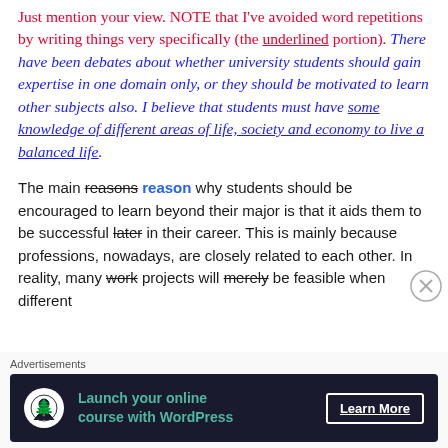Just mention your view. NOTE that I've avoided word repetitions by writing things very specifically (the underlined portion). There have been debates about whether university students should gain expertise in one domain only, or they should be motivated to learn other subjects also. I believe that students must have some knowledge of different areas of life, society and economy to live a balanced life.
The main reasons reason why students should be encouraged to learn beyond their major is that it aids them to be successful later in their career. This is mainly because professions, nowadays, are closely related to each other. In reality, many work projects will merely be feasible when different
[Figure (infographic): Advertisement banner: 'Launch your online course with WordPress' with a Learn More button, on dark background, with tree/person icon]